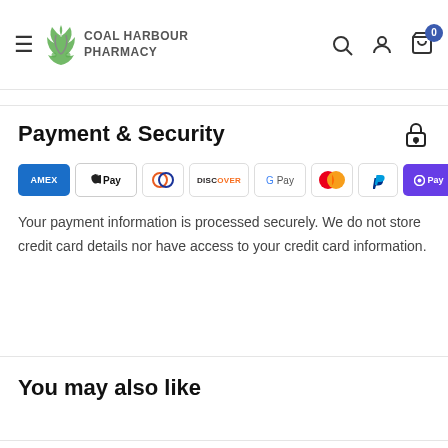Coal Harbour Pharmacy
Payment & Security
[Figure (logo): Payment method icons: Amex, Apple Pay, Diners Club, Discover, Google Pay, Mastercard, PayPal, OPay, Visa]
Your payment information is processed securely. We do not store credit card details nor have access to your credit card information.
You may also like